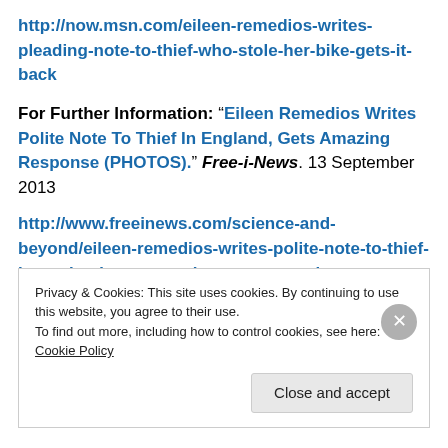http://now.msn.com/eileen-remedios-writes-pleading-note-to-thief-who-stole-her-bike-gets-it-back
For Further Information: “Eileen Remedios Writes Polite Note To Thief In England, Gets Amazing Response (PHOTOS).” Free-i-News. 13 September 2013
http://www.freeinews.com/science-and-beyond/eileen-remedios-writes-polite-note-to-thief-in-england-gets-amazing-response-photos
Privacy & Cookies: This site uses cookies. By continuing to use this website, you agree to their use. To find out more, including how to control cookies, see here: Cookie Policy
Close and accept